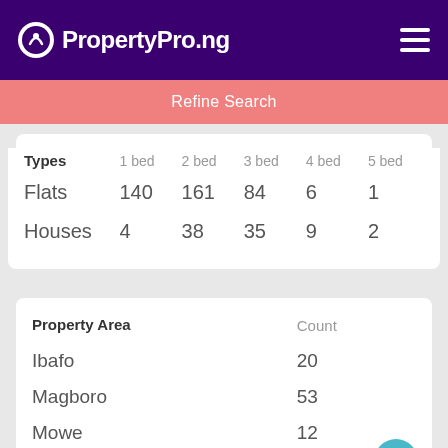PropertyPro.ng
Refine Search
Obafemi Owode Ogun
| Types | 1 bed | 2 bed | 3 bed | 4 bed | 5 bed |
| --- | --- | --- | --- | --- | --- |
| Flats | 140 | 161 | 84 | 6 | 1 |
| Houses | 4 | 38 | 35 | 9 | 2 |
| Property Area | Count |
| --- | --- |
| Ibafo | 20 |
| Magboro | 53 |
| Mowe | 12 |
| Ofada | 1 |